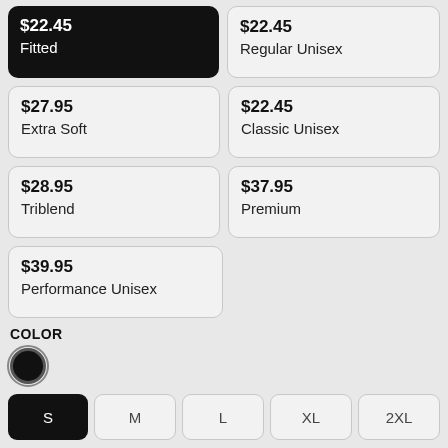$22.45 Fitted
$22.45 Regular Unisex
$27.95 Extra Soft
$22.45 Classic Unisex
$28.95 Triblend
$37.95 Premium
$39.95 Performance Unisex
COLOR
[Figure (other): Black color swatch circle, selected state]
S M L XL 2XL size buttons, S selected